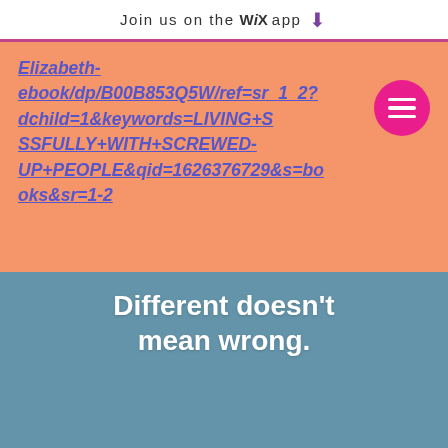Join us on the WiX app ↓
Elizabeth-ebook/dp/B00B853Q5W/ref=sr_1_2?dchild=1&keywords=LIVING+SSFULLY+WITH+SCREWED-UP+PEOPLE&qid=1626376729&s=books&sr=1-2
[Figure (illustration): A book cover or promotional image with text 'Different doesn't mean wrong.' and an illustration of many outlined human figures in blue/teal, with one darker figure standing out in the crowd.]